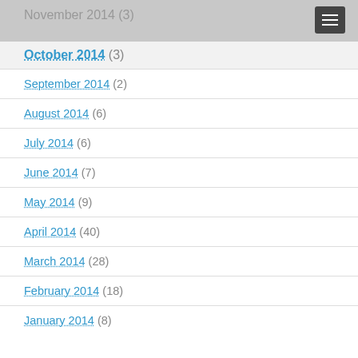November 2014 (3)
October 2014 (3)
September 2014 (2)
August 2014 (6)
July 2014 (6)
June 2014 (7)
May 2014 (9)
April 2014 (40)
March 2014 (28)
February 2014 (18)
January 2014 (8)